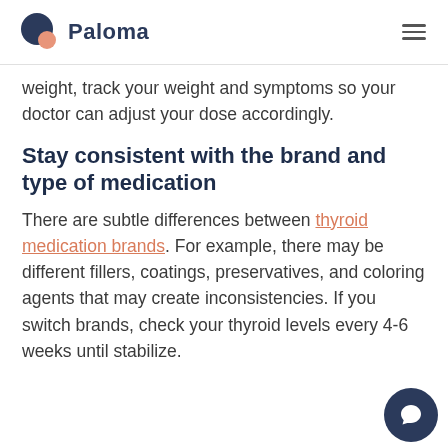Paloma
weight, track your weight and symptoms so your doctor can adjust your dose accordingly.
Stay consistent with the brand and type of medication
There are subtle differences between thyroid medication brands. For example, there may be different fillers, coatings, preservatives, and coloring agents that may create inconsistencies. If you switch brands, check your thyroid levels every 4-6 weeks until stabilize.